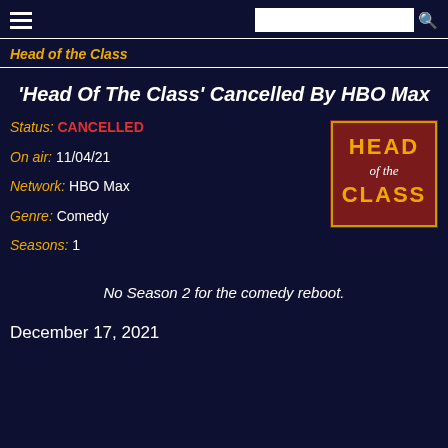Head of the Class
'Head Of The Class' Cancelled By HBO Max
Status: CANCELLED
On air: 11/04/21
Network: HBO Max
Genre: Comedy
Seasons: 1
[Figure (logo): Head of the Class show logo on dark red/maroon background with yellow and white stylized text]
No Season 2 for the comedy reboot.
December 17, 2021